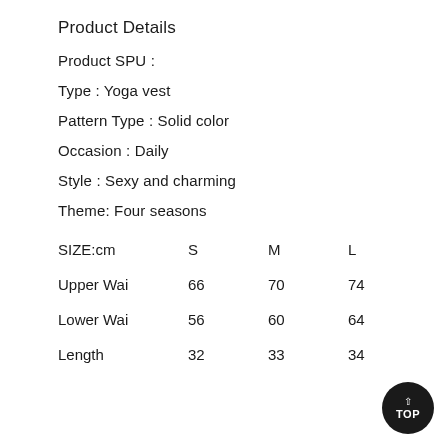Product Details
Product SPU :
Type : Yoga vest
Pattern Type : Solid color
Occasion : Daily
Style : Sexy and charming
Theme: Four seasons
| SIZE:cm | S | M | L |
| --- | --- | --- | --- |
| Upper Wai | 66 | 70 | 74 |
| Lower Wai | 56 | 60 | 64 |
| Length | 32 | 33 | 34 |